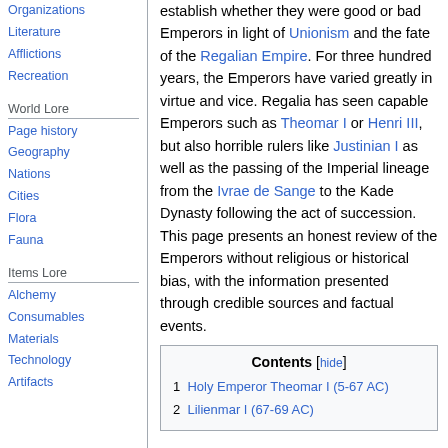Organizations
Literature
Afflictions
Recreation
World Lore
Page history
Geography
Nations
Cities
Flora
Fauna
Items Lore
Alchemy
Consumables
Materials
Technology
Artifacts
establish whether they were good or bad Emperors in light of Unionism and the fate of the Regalian Empire. For three hundred years, the Emperors have varied greatly in virtue and vice. Regalia has seen capable Emperors such as Theomar I or Henri III, but also horrible rulers like Justinian I as well as the passing of the Imperial lineage from the Ivrae de Sange to the Kade Dynasty following the act of succession. This page presents an honest review of the Emperors without religious or historical bias, with the information presented through credible sources and factual events.
| Contents [hide] |
| --- |
| 1  Holy Emperor Theomar I (5-67 AC) |
| 2  Lilienmar I (67-69 AC) |